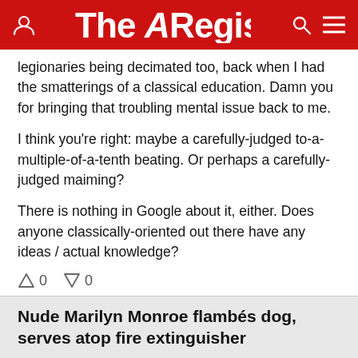The Register
legionaries being decimated too, back when I had the smatterings of a classical education. Damn you for bringing that troubling mental issue back to me.

I think you're right: maybe a carefully-judged to-a-multiple-of-a-tenth beating. Or perhaps a carefully-judged maiming?

There is nothing in Google about it, either. Does anyone classically-oriented out there have any ideas / actual knowledge?
↑0  ↓0
Nude Marilyn Monroe flambés dog, serves atop fire extinguisher
Monday 25th February 2008 14:27 GMT
Tom Austin
Report abuse